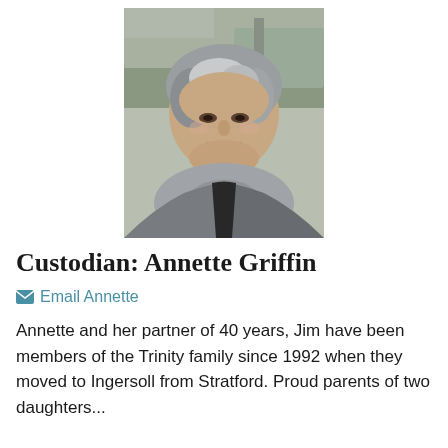[Figure (photo): Portrait photo of Annette Griffin, a woman with gray and white hair, smiling, wearing a gray cardigan/scarf, outdoors with trees and a bench visible in the background.]
Custodian: Annette Griffin
Email Annette
Annette and her partner of 40 years, Jim have been members of the Trinity family since 1992 when they moved to Ingersoll from Stratford. Proud parents of two daughters...